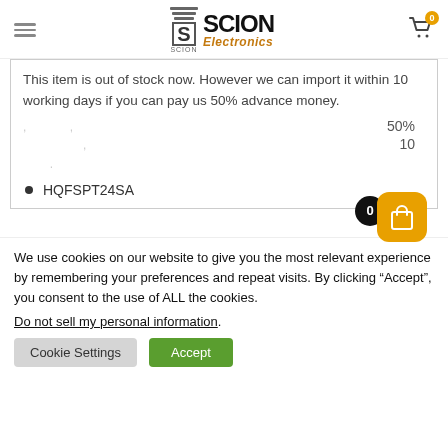Scion Electronics — navigation header with logo and cart
This item is out of stock now. However we can import it within 10 working days if you can pay us 50% advance money.
50%
10
(faded placeholder text lines)
HQFSPT24SA
We use cookies on our website to give you the most relevant experience by remembering your preferences and repeat visits. By clicking “Accept”, you consent to the use of ALL the cookies.
Do not sell my personal information.
Cookie Settings   Accept